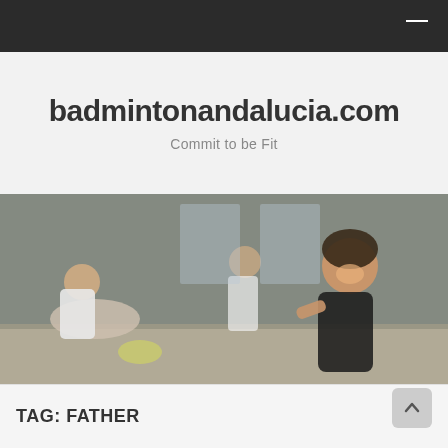badmintonandalucia.com
Commit to be Fit
[Figure (photo): Women doing stretching exercises on a gym floor, multiple people in athletic wear, smiling woman in foreground leaning forward]
TAG: FATHER